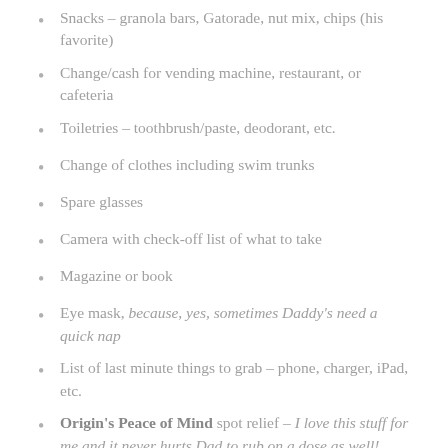Snacks – granola bars, Gatorade, nut mix, chips (his favorite)
Change/cash for vending machine, restaurant, or cafeteria
Toiletries – toothbrush/paste, deodorant, etc.
Change of clothes including swim trunks
Spare glasses
Camera with check-off list of what to take
Magazine or book
Eye mask, because, yes, sometimes Daddy's need a quick nap
List of last minute things to grab – phone, charger, iPad, etc.
Origin's Peace of Mind spot relief – I love this stuff for me and it never hurts Dad to rub on a dose as well!
Anything missing?